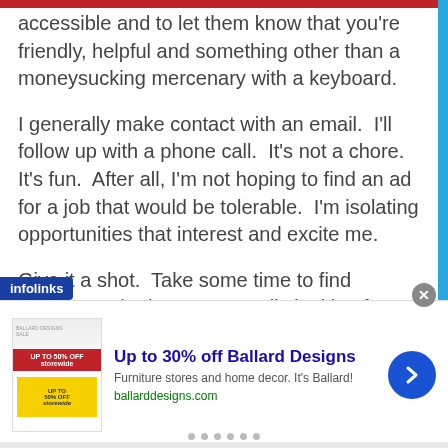accessible and to let them know that you're friendly, helpful and something other than a moneysucking mercenary with a keyboard.
I generally make contact with an email.  I'll follow up with a phone call.  It's not a chore.  It's fun.  After all, I'm not hoping to find an ad for a job that would be tolerable.  I'm isolating opportunities that interest and excite me.
Give it a shot.  Take some time to find someone who isn't necessarily looking for you but who could really use your skills.  Pitch 'em.  See what
[Figure (screenshot): Advertisement banner for Ballard Designs furniture store, showing up to 30% off with a red sale image and a circular blue arrow button.]